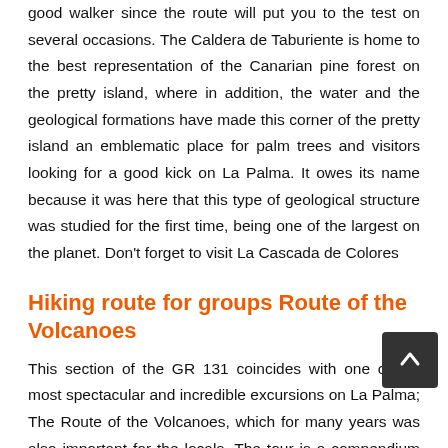good walker since the route will put you to the test on several occasions. The Caldera de Taburiente is home to the best representation of the Canarian pine forest on the pretty island, where in addition, the water and the geological formations have made this corner of the pretty island an emblematic place for palm trees and visitors looking for a good kick on La Palma. It owes its name because it was here that this type of geological structure was studied for the first time, being one of the largest on the planet. Don't forget to visit La Cascada de Colores
Hiking route for groups Route of the Volcanoes
This section of the GR 131 coincides with one of the most spectacular and incredible excursions on La Palma; The Route of the Volcanoes, which for many years was also important for the locals. The tour is a compendium on the historical volcanism of the pretty island through a forceful landscape of lava, volcanic ash, calderas and volcanoes. It runs from El Pilar and through the upper area of Cumbre Vieja where there is no inhabited place until it reaches Los